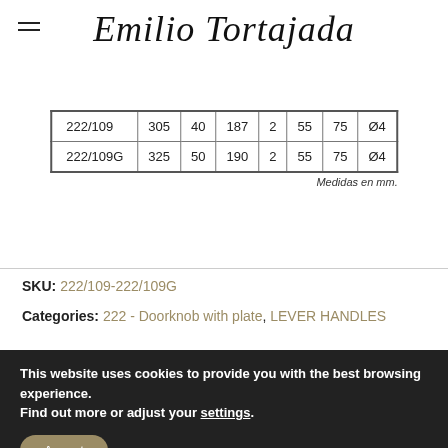Emilio Tortajada
| 222/109 | 305 | 40 | 187 | 2 | 55 | 75 | Ø4 |
| 222/109G | 325 | 50 | 190 | 2 | 55 | 75 | Ø4 |
Medidas en mm.
SKU: 222/109-222/109G
Categories: 222 - Doorknob with plate, LEVER HANDLES
This website uses cookies to provide you with the best browsing experience. Find out more or adjust your settings.